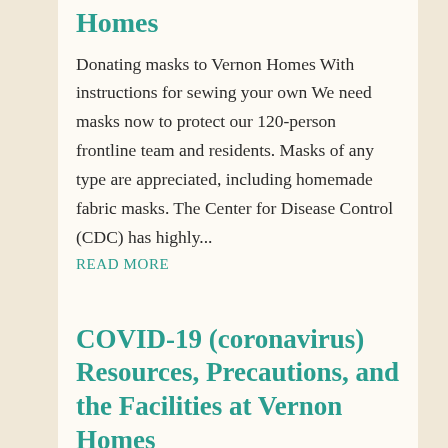Homes
Donating masks to Vernon Homes With instructions for sewing your own We need masks now to protect our 120-person frontline team and residents. Masks of any type are appreciated, including homemade fabric masks. The Center for Disease Control (CDC) has highly...
READ MORE
COVID-19 (coronavirus) Resources, Precautions, and the Facilities at Vernon Homes